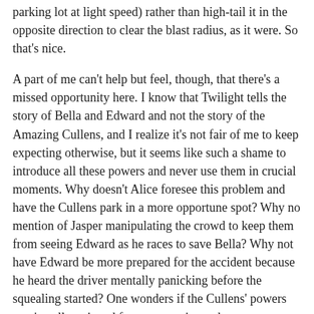parking lot at light speed) rather than high-tail it in the opposite direction to clear the blast radius, as it were. So that's nice.
A part of me can't help but feel, though, that there's a missed opportunity here. I know that Twilight tells the story of Bella and Edward and not the story of the Amazing Cullens, and I realize it's not fair of me to keep expecting otherwise, but it seems like such a shame to introduce all these powers and never use them in crucial moments. Why doesn't Alice foresee this problem and have the Cullens park in a more opportune spot? Why no mention of Jasper manipulating the crowd to keep them from seeing Edward as he races to save Bella? Why not have Edward be more prepared for the accident because he heard the driver mentally panicking before the squealing started? One wonders if the Cullens' powers aren't well-equipped for emergencies and spontaneous actions.
A low oath made me aware that someone was with me, and the voice was impossible not to recognize. Two long, white hands shot out protectively in front of me, and then a shoulder blocked my face from the